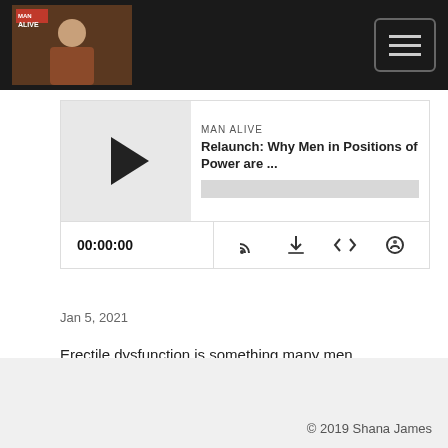[Figure (screenshot): Man Alive podcast logo with woman's photo, dark background navigation bar with hamburger menu button]
[Figure (screenshot): Podcast player widget showing episode 'Relaunch: Why Men in Positions of Power are ...' with play button, progress bar, time 00:00:00, and control icons]
Jan 5, 2021
Erectile dysfunction is something many men experience but few men talk about. In this episode you'll learn about a natural support for getting help with ED.
Read More
© 2019 Shana James